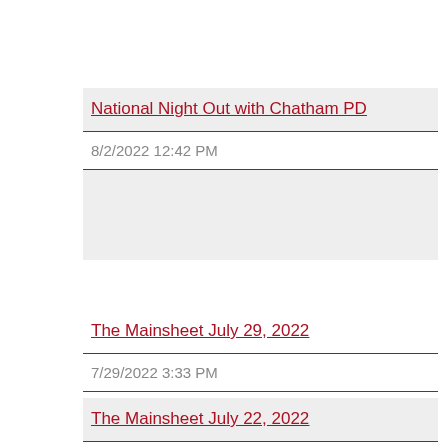National Night Out with Chatham PD
8/2/2022 12:42 PM
The Mainsheet July 29, 2022
7/29/2022 3:33 PM
The Mainsheet July 22, 2022